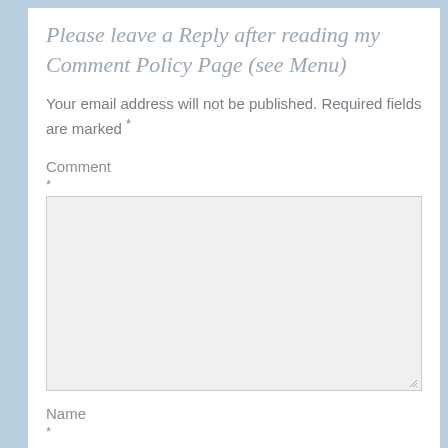Please leave a Reply after reading my Comment Policy Page (see Menu)
Your email address will not be published. Required fields are marked *
Comment
*
[Figure (other): Comment text area input box with resize handle]
Name
*